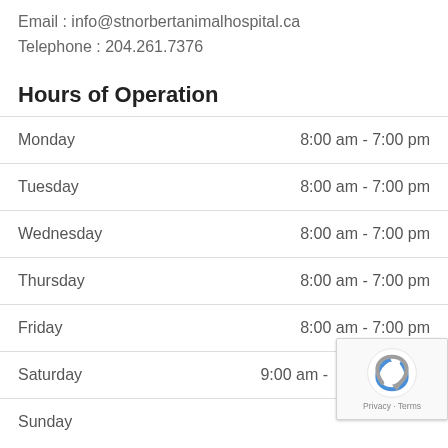Email : info@stnorbertanimalhospital.ca
Telephone : 204.261.7376
Hours of Operation
| Day | Hours |
| --- | --- |
| Monday | 8:00 am - 7:00 pm |
| Tuesday | 8:00 am - 7:00 pm |
| Wednesday | 8:00 am - 7:00 pm |
| Thursday | 8:00 am - 7:00 pm |
| Friday | 8:00 am - 7:00 pm |
| Saturday | 9:00 am - |
| Sunday | (closed) |